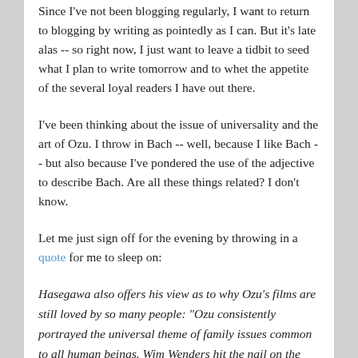Since I've not been blogging regularly, I want to return to blogging by writing as pointedly as I can. But it's late alas -- so right now, I just want to leave a tidbit to seed what I plan to write tomorrow and to whet the appetite of the several loyal readers I have out there.
I've been thinking about the issue of universality and the art of Ozu. I throw in Bach -- well, because I like Bach -- but also because I've pondered the use of the adjective to describe Bach. Are all these things related? I don't know.
Let me just sign off for the evening by throwing in a quote for me to sleep on:
Hasegawa also offers his view as to why Ozu's films are still loved by so many people: "Ozu consistently portrayed the universal theme of family issues common to all human beings. Wim Wenders hit the nail on the head about Ozu's films in stating: 'As thoroughly Japanese as they are, these films are, at the same time, universal. In them, I've been able to recognize all families, in all the countries of the world, as well as my parents, my brother, and myself.' However many times I watch Ozu's